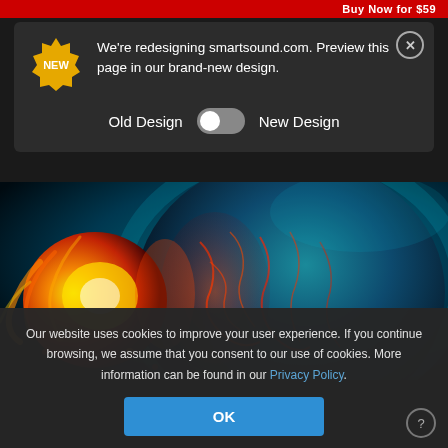Buy Now for $59
We're redesigning smartsound.com. Preview this page in our brand-new design.
Old Design  [toggle]  New Design
[Figure (photo): Dramatic sci-fi illustration of a flaming meteor or asteroid crashing into a cracked, lava-veined planet against a dark teal/blue cosmic background]
Our website uses cookies to improve your user experience. If you continue browsing, we assume that you consent to our use of cookies. More information can be found in our Privacy Policy.
OK